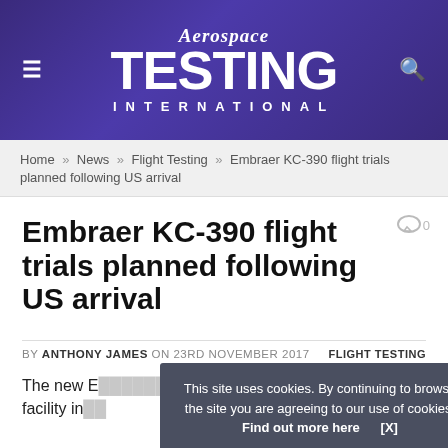[Figure (logo): Aerospace Testing International logo on purple/indigo banner with hamburger menu icon on left and search icon on right]
Home » News » Flight Testing » Embraer KC-390 flight trials planned following US arrival
Embraer KC-390 flight trials planned following US arrival
BY ANTHONY JAMES ON 23RD NOVEMBER 2017   FLIGHT TESTING
The new E... 's facility in...
This site uses cookies. By continuing to browse the site you are agreeing to our use of cookies. Find out more here   [X]